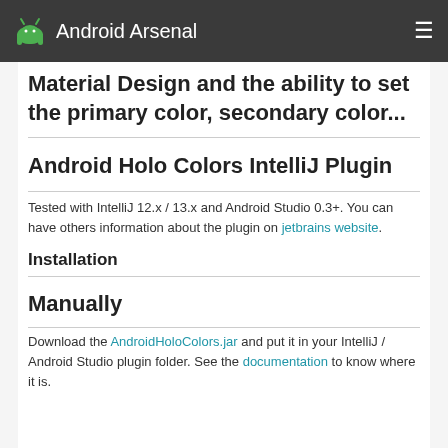Android Arsenal
Material Design and the ability to set the primary color, secondary color...
Android Holo Colors IntelliJ Plugin
Tested with IntelliJ 12.x / 13.x and Android Studio 0.3+. You can have others information about the plugin on jetbrains website.
Installation
Manually
Download the AndroidHoloColors.jar and put it in your IntelliJ / Android Studio plugin folder. See the documentation to know where it is.